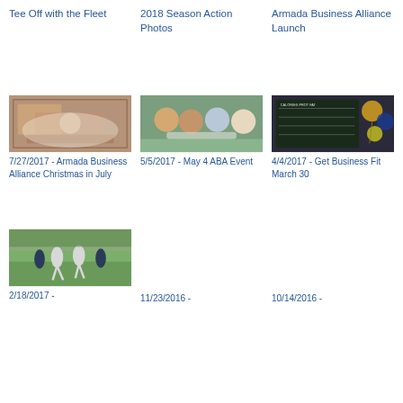Tee Off with the Fleet
2018 Season Action Photos
Armada Business Alliance Launch
[Figure (photo): Event table setting with red plates and decorations]
[Figure (photo): Group of four people at an outdoor event]
[Figure (photo): Chalkboard sign with balloons in background]
7/27/2017 - Armada Business Alliance Christmas in July
5/5/2017 - May 4 ABA Event
4/4/2017 - Get Business Fit March 30
[Figure (photo): Soccer players on a field]
2/18/2017 -
11/23/2016 -
10/14/2016 -